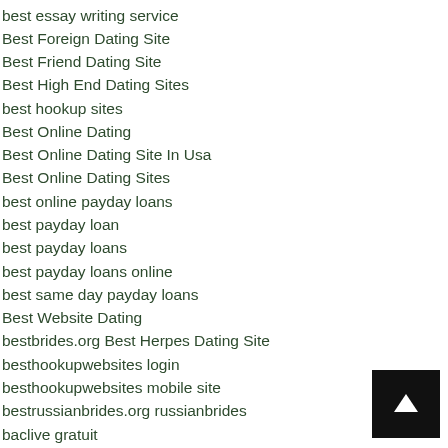best essay writing service
Best Foreign Dating Site
Best Friend Dating Site
Best High End Dating Sites
best hookup sites
Best Online Dating
Best Online Dating Site In Usa
Best Online Dating Sites
best online payday loans
best payday loan
best payday loans
best payday loans online
best same day payday loans
Best Website Dating
bestbrides.org Best Herpes Dating Site
besthookupwebsites login
besthookupwebsites mobile site
bestrussianbrides.org russianbrides
baclive gratuit